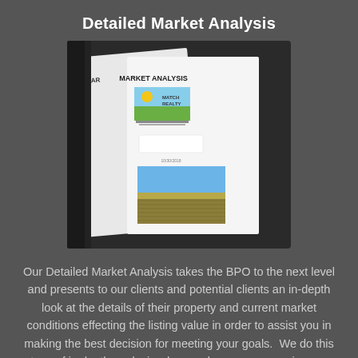Detailed Market Analysis
[Figure (photo): A photo of a Market Analysis document binder/folder showing a cover page titled 'MARKET ANALYSIS' with a realty company logo and a photograph of an agricultural field (wheat/grain crop under blue sky).]
Our Detailed Market Analysis takes the BPO to the next level and presents to our clients and potential clients an in-depth look at the details of their property and current market conditions effecting the listing value in order to assist you in making the best decision for meeting your goals.  We do this type of in depth analusis when we know you are using our